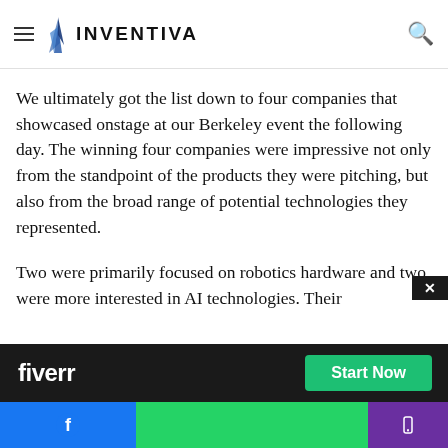INVENTIVA (navigation header with hamburger menu and search icon)
helped to whittle down the initial list. I'm happy to say we ended up with a solid list of competitors across the board.
We ultimately got the list down to four companies that showcased onstage at our Berkeley event the following day. The winning four companies were impressive not only from the standpoint of the products they were pitching, but also from the broad range of potential technologies they represented.
Two were primarily focused on robotics hardware and two were more interested in AI technologies. Their
[Figure (screenshot): Fiverr advertisement banner with dark background showing 'fiverr' logo in white and a green 'Start Now' button]
[Figure (screenshot): Bottom social/navigation bar with Facebook blue on left, green center section, purple phone icon on right. Close X button top right of ad.]